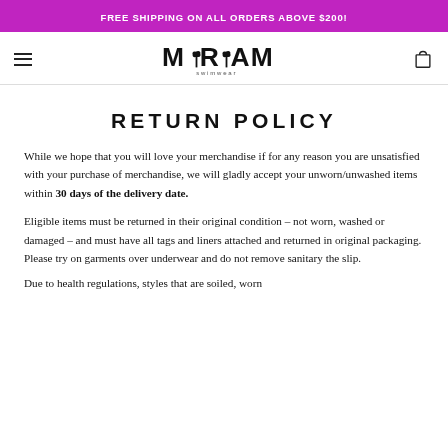FREE SHIPPING ON ALL ORDERS ABOVE $200!
RETURN POLICY
While we hope that you will love your merchandise if for any reason you are unsatisfied with your purchase of merchandise, we will gladly accept your unworn/unwashed items within 30 days of the delivery date.
Eligible items must be returned in their original condition – not worn, washed or damaged – and must have all tags and liners attached and returned in original packaging. Please try on garments over underwear and do not remove sanitary the slip.
Due to health regulations, styles that are soiled, worn...